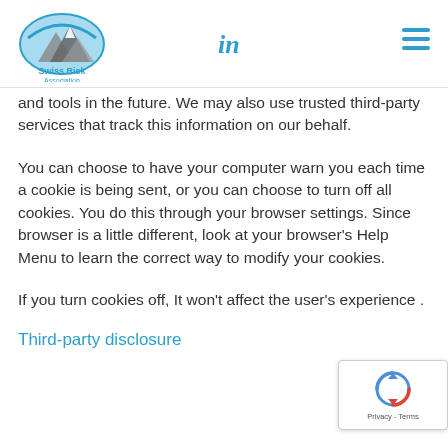Swiss Risk Association | LinkedIn icon | Hamburger menu
and tools in the future. We may also use trusted third-party services that track this information on our behalf.
You can choose to have your computer warn you each time a cookie is being sent, or you can choose to turn off all cookies. You do this through your browser settings. Since browser is a little different, look at your browser's Help Menu to learn the correct way to modify your cookies.
If you turn cookies off, It won't affect the user's experience .
Third-party disclosure